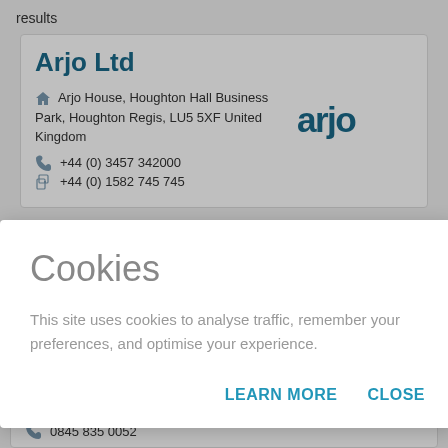results
Arjo Ltd
Arjo House, Houghton Hall Business Park, Houghton Regis, LU5 5XF United Kingdom
+44 (0) 3457 342000
+44 (0) 1582 745 745
[Figure (logo): Arjo company logo in teal/dark cyan color]
Charwood House, Oakhurst Business Park United Kingdom
0845 835 0052
Cookies
This site uses cookies to analyse traffic, remember your preferences, and optimise your experience.
LEARN MORE   CLOSE